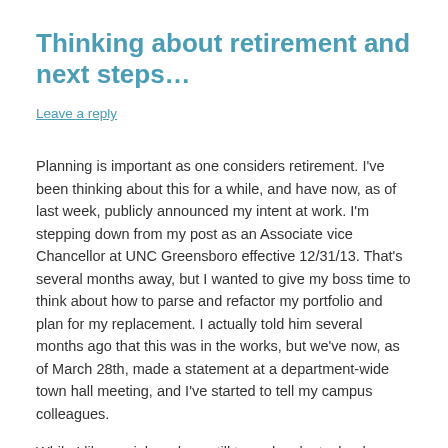Thinking about retirement and next steps…
Leave a reply
Planning is important as one considers retirement. I've been thinking about this for a while, and have now, as of last week, publicly announced my intent at work. I'm stepping down from my post as an Associate vice Chancellor at UNC Greensboro effective 12/31/13. That's several months away, but I wanted to give my boss time to think about how to parse and refactor my portfolio and plan for my replacement. I actually told him several months ago that this was in the works, but we've now, as of March 28th, made a statement at a department-wide town hall meeting, and I've started to tell my campus colleagues.
While I like my job and am still turned on by technology, I'm